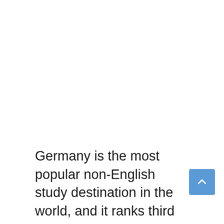Germany is the most popular non-English study destination in the world, and it ranks third